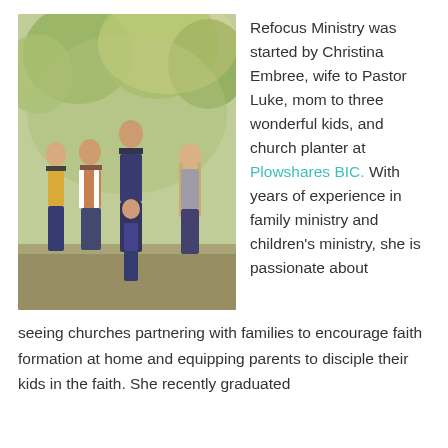[Figure (photo): Family photo of five people standing outdoors among green trees. A woman, a man, and three children pose together on grass.]
Refocus Ministry was started by Christina Embree, wife to Pastor Luke, mom to three wonderful kids, and church planter at Plowshares BIC. With years of experience in family ministry and children's ministry, she is passionate about seeing churches partnering with families to encourage faith formation at home and equipping parents to disciple their kids in the faith. She recently graduated